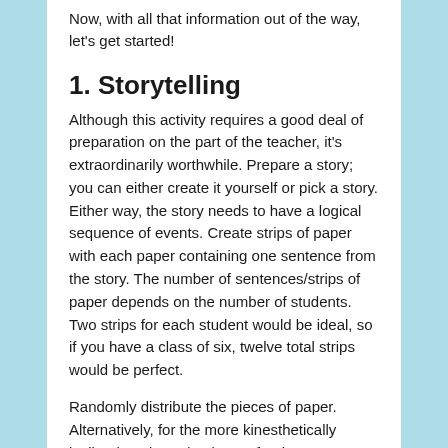Now, with all that information out of the way, let's get started!
1. Storytelling
Although this activity requires a good deal of preparation on the part of the teacher, it's extraordinarily worthwhile. Prepare a story; you can either create it yourself or pick a story. Either way, the story needs to have a logical sequence of events. Create strips of paper with each paper containing one sentence from the story. The number of sentences/strips of paper depends on the number of students. Two strips for each student would be ideal, so if you have a class of six, twelve total strips would be perfect.
Randomly distribute the pieces of paper. Alternatively, for the more kinesthetically inclined students (and even for the non-kinesthetically inclined!), you can quickly hide the strips of paper in random places around the classroom while the students are waiting outside. Once the papers have been distributed, give the students two